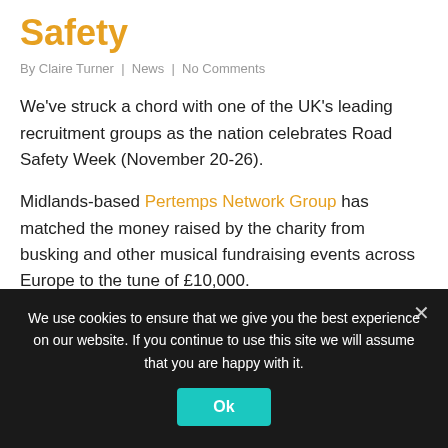Safety
By Claire Turner | News | No Comments
We've struck a chord with one of the UK's leading recruitment groups as the nation celebrates Road Safety Week (November 20-26).
Midlands-based Pertemps Network Group has matched the money raised by the charity from busking and other musical fundraising events across Europe to the tune of £10,000.
We use cookies to ensure that we give you the best experience on our website. If you continue to use this site we will assume that you are happy with it.